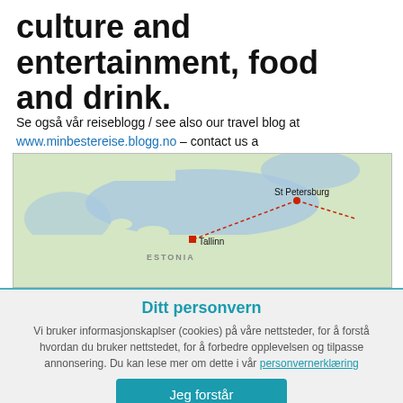culture and entertainment, food and drink.
Se også vår reiseblogg / see also our travel blog at www.minbestereise.blogg.no – contact us a hovedsteder@gmail.com
[Figure (map): Map showing Estonia region with Tallinn and St Petersburg marked with red dots connected by a dotted red line route.]
Ditt personvern
Vi bruker informasjonskaplser (cookies) på våre nettsteder, for å forstå hvordan du bruker nettstedet, for å forbedre opplevelsen og tilpasse annonsering. Du kan lese mer om dette i vår personvernerklæring
Jeg forstår
Mer informasjon